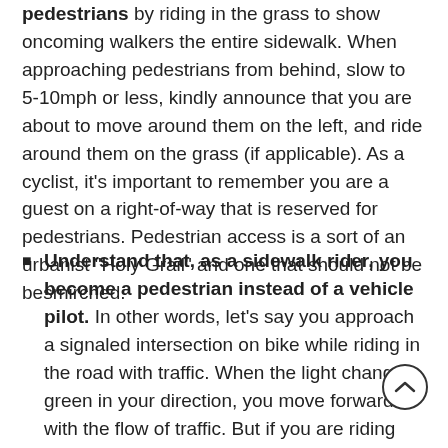pedestrians by riding in the grass to show oncoming walkers the entire sidewalk. When approaching pedestrians from behind, slow to 5-10mph or less, kindly announce that you are about to move around them on the left, and ride around them on the grass (if applicable). As a cyclist, it's important to remember you are a guest on a right-of-way that is reserved for pedestrians. Pedestrian access is a sort of an urbanist "Holy Grail" and one that should not be besmirched.
Understand that, as a sidewalk rider, you become a pedestrian instead of a vehicle pilot. In other words, let's say you approach a signaled intersection on bike while riding in the road with traffic. When the light changes green in your direction, you move forward with the flow of traffic. But if you are riding the sidewalk, you may have to press the crosswalk button every time you approach an intersection. If you do not do this, you taking matters into your own hands. For example, let's